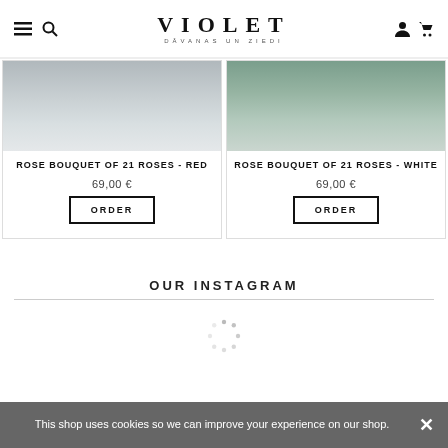VIOLET / DĀVANAS UN ZIEDI
[Figure (photo): Product image - Rose bouquet red, light grey background]
ROSE BOUQUET OF 21 ROSES - RED
69,00 €
ORDER
[Figure (photo): Product image - Rose bouquet white, green foliage background]
ROSE BOUQUET OF 21 ROSES - WHITE
69,00 €
ORDER
OUR INSTAGRAM
[Figure (other): Loading spinner animation]
This shop uses cookies so we can improve your experience on our shop.